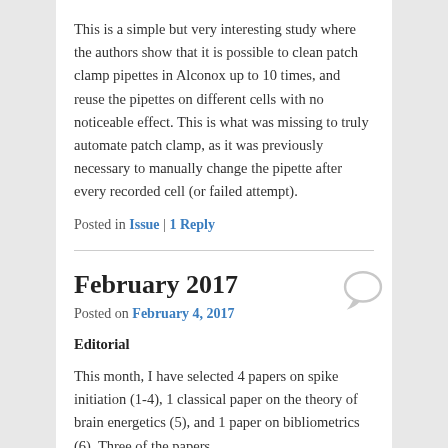This is a simple but very interesting study where the authors show that it is possible to clean patch clamp pipettes in Alconox up to 10 times, and reuse the pipettes on different cells with no noticeable effect. This is what was missing to truly automate patch clamp, as it was previously necessary to manually change the pipette after every recorded cell (or failed attempt).
Posted in Issue | 1 Reply
February 2017
Posted on February 4, 2017
Editorial
This month, I have selected 4 papers on spike initiation (1-4), 1 classical paper on the theory of brain energetics (5), and 1 paper on bibliometrics (6). Three of the papers